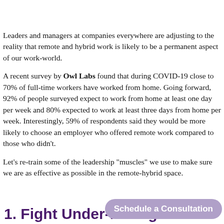Leaders and managers at companies everywhere are adjusting to the reality that remote and hybrid work is likely to be a permanent aspect of our work-world.
A recent survey by Owl Labs found that during COVID-19 close to 70% of full-time workers have worked from home. Going forward, 92% of people surveyed expect to work from home at least one day per week and 80% expected to work at least three days from home per week. Interestingly, 59% of respondents said they would be more likely to choose an employer who offered remote work compared to those who didn't.
Let's re-train some of the leadership “muscles” we use to make sure we are as effective as possible in the remote-hybrid space.
1. Fight Under-Management!